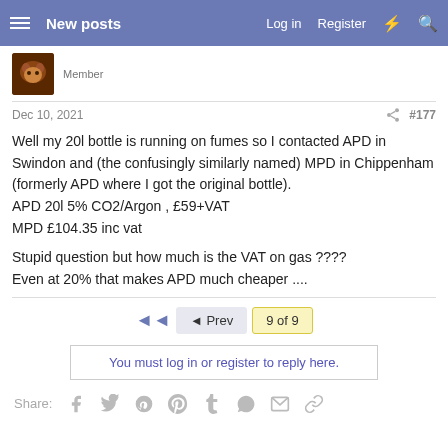New posts  Log in  Register
Member
Dec 10, 2021  #177
Well my 20l bottle is running on fumes so I contacted APD in Swindon and (the confusingly similarly named) MPD in Chippenham (formerly APD where I got the original bottle).
APD 20l 5% CO2/Argon , £59+VAT
MPD £104.35 inc vat

Stupid question but how much is the VAT on gas ????
Even at 20% that makes APD much cheaper ....
◄◄  ◄ Prev  9 of 9
You must log in or register to reply here.
Share: